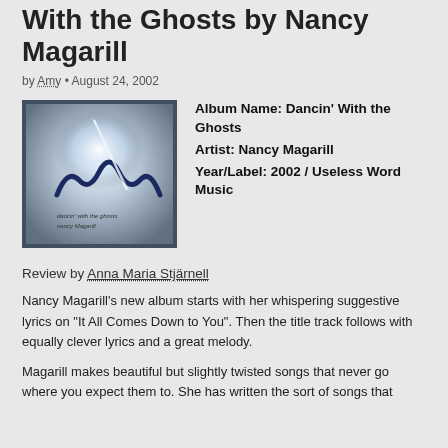With the Ghosts by Nancy Magarill
by Amy • August 24, 2002
[Figure (photo): Album cover for Dancin' With the Ghosts by Nancy Magarill — abstract swirling light with stylized text overlaid]
Album Name: Dancin' With the Ghosts
Artist: Nancy Magarill
Year/Label: 2002 / Useless Word Music
Review by Anna Maria Stjärnell
Nancy Magarill's new album starts with her whispering suggestive lyrics on "It All Comes Down to You". Then the title track follows with equally clever lyrics and a great melody.
Magarill makes beautiful but slightly twisted songs that never go where you expect them to. She has written the sort of songs that don't turn out as first listen, but as you come along, you learn...